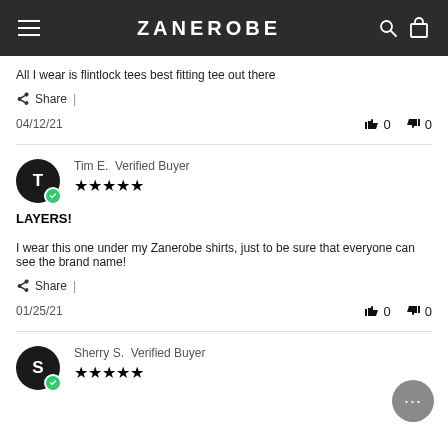ZANEROBE
All I wear is flintlock tees best fitting tee out there
Share | 04/12/21  👍 0  👎 0
Tim E.  Verified Buyer ★★★★★
LAYERS!
I wear this one under my Zanerobe shirts, just to be sure that everyone can see the brand name!
Share | 01/25/21  👍 0  👎 0
Sherry S.  Verified Buyer ★★★★★